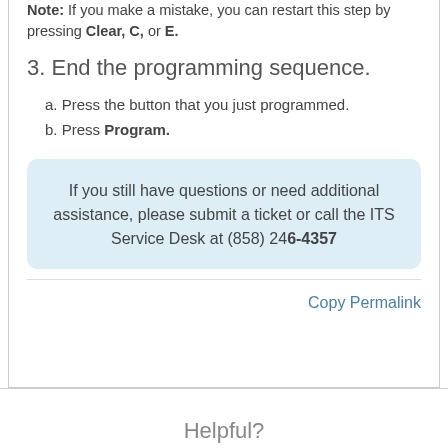Note: If you make a mistake, you can restart this step by pressing Clear, C, or E.
3. End the programming sequence.
a. Press the button that you just programmed.
b. Press Program.
If you still have questions or need additional assistance, please submit a ticket or call the ITS Service Desk at (858) 246-4357
Copy Permalink
Helpful?